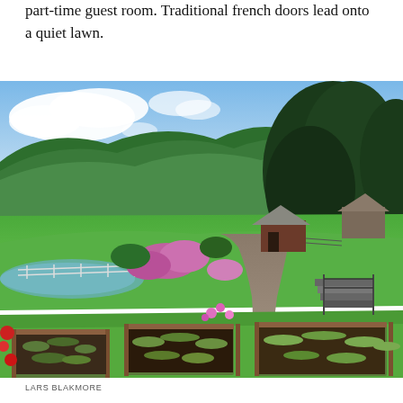part-time guest room. Traditional french doors lead onto a quiet lawn.
[Figure (photo): An aerial view of a rural Vermont-style property showing raised garden beds in the foreground filled with vegetables and flowers, a gravel driveway leading to a rustic wooden barn, lush green meadows, a pond, flowering shrubs, and a forested hillside under a partly cloudy blue sky.]
LARS BLAKMORE